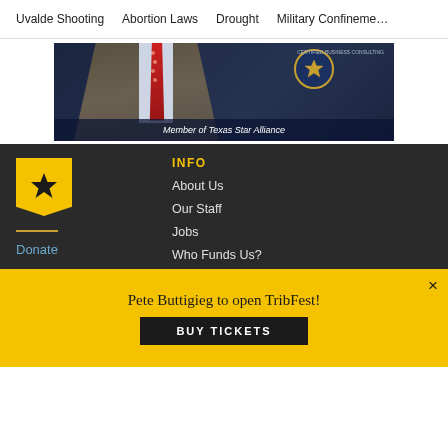Uvalde Shooting  Abortion Laws  Drought  Military Confinement
[Figure (photo): Man in suit with red tie, badge/seal visible, caption reads 'Member of Texas Star Alliance']
[Figure (logo): Texas Tribune star badge logo in gold/yellow]
Donate
INFO
About Us
Our Staff
Jobs
Who Funds Us?
Pete Buttigieg to open TribFest!
BUY TICKETS